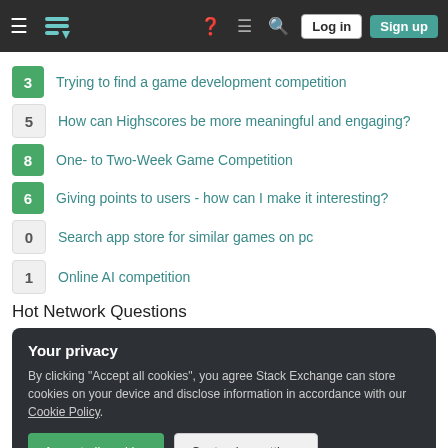Stack Exchange navigation bar with Log in and Sign up buttons
3 — Trying to find a game development competition
5 — How can Highscores be more meaningful and engaging?
8 — One- to Two-Week Game Competition
6 — Giving points to users - how can I make it interesting?
0 — Search app store for similar games on pc
1 — Online AI competition
Hot Network Questions
Your privacy
By clicking "Accept all cookies", you agree Stack Exchange can store cookies on your device and disclose information in accordance with our Cookie Policy.
Accept all cookies   Customize settings
Are arbitrary nonempty intersections of principal filters principal?